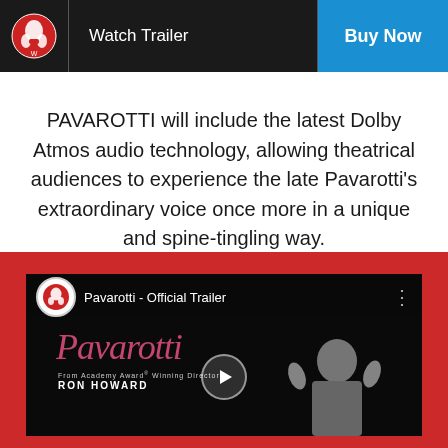Watch Trailer | Buy Now
PAVAROTTI will include the latest Dolby Atmos audio technology, allowing theatrical audiences to experience the late Pavarotti's extraordinary voice once more in a unique and spine-tingling way.
[Figure (screenshot): YouTube video thumbnail for Pavarotti - Official Trailer, showing the movie title in pink script, with text 'From Academy Award Winning Director RON HOWARD', a play button, and a black and white image of Pavarotti singing.]